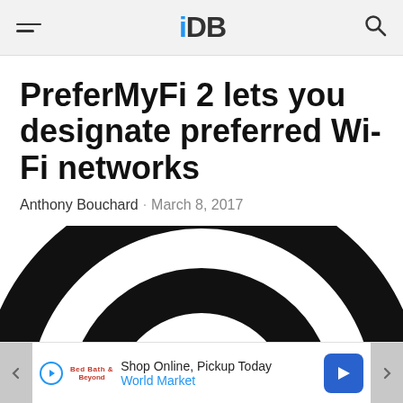iDB
PreferMyFi 2 lets you designate preferred Wi-Fi networks
Anthony Bouchard · March 8, 2017
[Figure (illustration): Large black Wi-Fi signal arc/semicircle icon cropped at bottom of page]
Shop Online, Pickup Today World Market